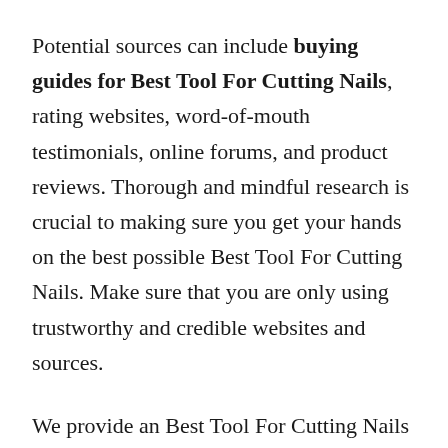Potential sources can include buying guides for Best Tool For Cutting Nails, rating websites, word-of-mouth testimonials, online forums, and product reviews. Thorough and mindful research is crucial to making sure you get your hands on the best possible Best Tool For Cutting Nails. Make sure that you are only using trustworthy and credible websites and sources.
We provide an Best Tool For Cutting Nails buying guide, and the information is totally objective and authentic. We employ both AI and big data in